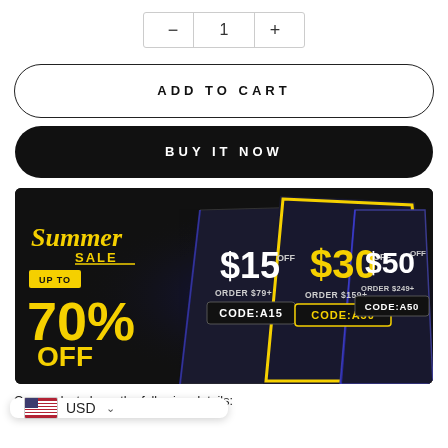[Figure (other): Quantity selector: minus button, '1', plus button in a bordered row]
ADD TO CART
BUY IT NOW
[Figure (infographic): Summer Sale banner: UP TO 70% OFF. Three discount coupons: $15 OFF ORDER $79+ CODE:A15, $30 OFF ORDER $159+ CODE:A30, $50 OFF ORDER $249+ CODE:A50]
Our products have the following details:
[Figure (other): USD currency selector widget with US flag]
Scene: Outdoor & Everyday